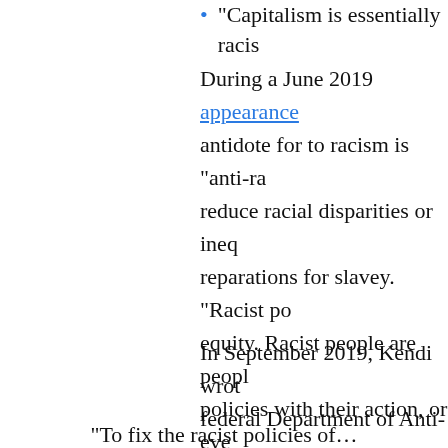“Capitalism is essentially racis…
During a June 2019 appearance… antidote for to racism is “anti-ra… reduce racial disparities or ineq… reparations for slavey. “Racist po… equity. Racist people are peopl… policies with their action, or eve…
In September 2019, Kendi wrot… federal Department of Anti-rac… U.S. Constitution, to monitor an… elaborated:
“To fix the racist policies of…